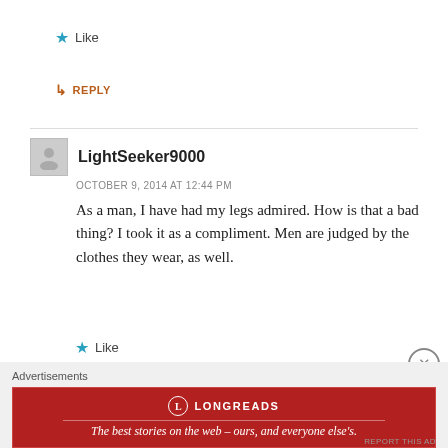★ Like
↳ REPLY
LightSeeker9000
OCTOBER 9, 2014 AT 12:44 PM
As a man, I have had my legs admired. How is that a bad thing? I took it as a compliment. Men are judged by the clothes they wear, as well.
★ Like
↳ REPLY
Advertisements
[Figure (screenshot): Longreads advertisement banner: red background with Longreads logo and tagline 'The best stories on the web – ours, and everyone else's.']